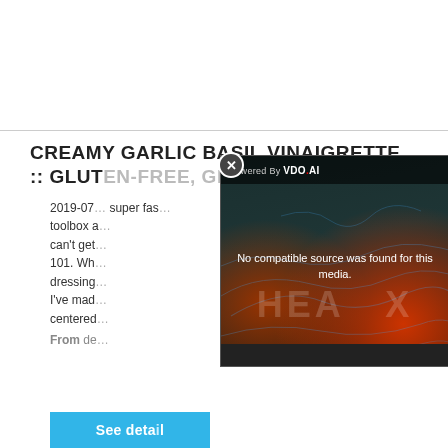CREAMY GARLIC BASIL VINAIGRETTE :: GLUTEN-FREE, GRAIN-FREE
2019-07 ... super fast ... toolbox a... can't get... 101. Wh... dressing ... I've mad... centered...
From de...
[Figure (screenshot): Video player overlay showing 'No compatible source was found for this media.' with HEA X branding on a dark teal and red gradient background. Powered by VDO.AI shown in top bar with a close button.]
See detail